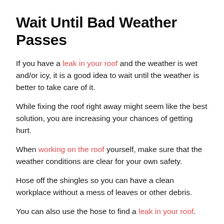Wait Until Bad Weather Passes
If you have a leak in your roof and the weather is wet and/or icy, it is a good idea to wait until the weather is better to take care of it.
While fixing the roof right away might seem like the best solution, you are increasing your chances of getting hurt.
When working on the roof yourself, make sure that the weather conditions are clear for your own safety.
Hose off the shingles so you can have a clean workplace without a mess of leaves or other debris.
You can also use the hose to find a leak in your roof.